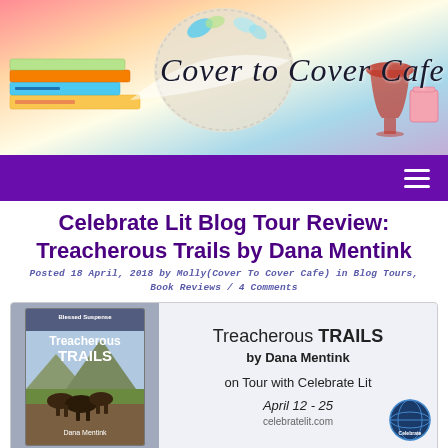[Figure (illustration): Cover To Cover Cafe blog header banner with colorful gradient background, decorative skull with butterflies, stack of books, wine glass, and cursive logo text reading 'Cover to Cover Cafe']
[Figure (illustration): Purple navigation bar with hamburger menu icon on the right]
Celebrate Lit Blog Tour Review: Treacherous Trails by Dana Mentink
Posted 18 April, 2018 by Molly(Cover To Cover Cafe) in Blog Tours, Book Reviews / 4 Comments
[Figure (illustration): Book promotional banner showing the book cover of 'Treacherous Trails' on the left and book tour information on the right: 'Treacherous TRAILS by Dana Mentink on Tour with Celebrate Lit April 12 - 25 celebratelit.com']